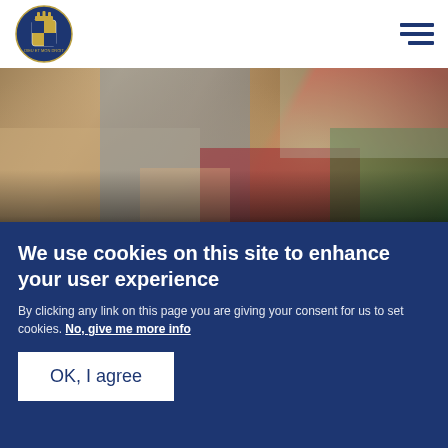[Figure (logo): Royal coat of arms crest logo in top left corner]
[Figure (photo): People sitting together, man in khaki trousers and blue shirt, woman in red patterned clothing, another in green checked fabric — royal visit India engagement scene. Overlaid with NEWS label and headline.]
Day three of #RoyalVisitIndia
Published 13 April 2016
We use cookies on this site to enhance your user experience
By clicking any link on this page you are giving your consent for us to set cookies. No, give me more info
OK, I agree